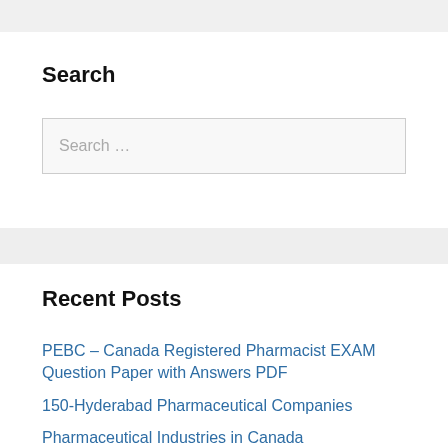Search
Search …
Recent Posts
PEBC – Canada Registered Pharmacist EXAM Question Paper with Answers PDF
150-Hyderabad Pharmaceutical Companies
Pharmaceutical Industries in Canada